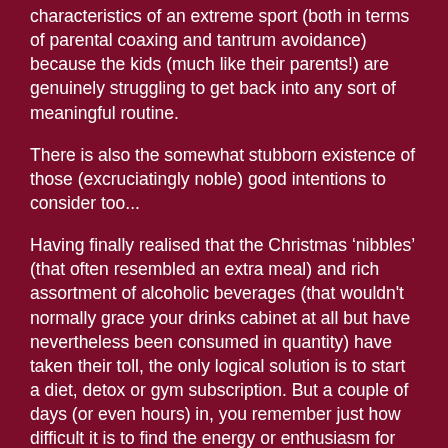characteristics of an extreme sport (both in terms of parental coaxing and tantrum avoidance) because the kids (much like their parents!) are genuinely struggling to get back into any sort of meaningful routine.
There is also the somewhat stubborn existence of those (excruciatingly noble) good intentions to consider too...
Having finally realised that the Christmas 'nibbles' (that often resembled an extra meal) and rich assortment of alcoholic beverages (that wouldn't normally grace your drinks cabinet at all but have nevertheless been consumed in quantity) have taken their toll, the only logical solution is to start a diet, detox or gym subscription. But a couple of days (or even hours) in, you remember just how difficult it is to find the energy or enthusiasm for any of these things, and the prospect of finishing off those festive treats quickly becomes the only thing that gets you through those long and dismal